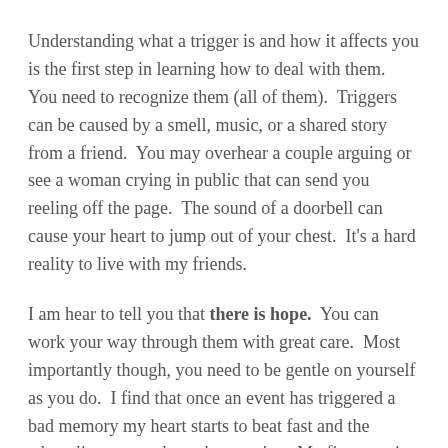Understanding what a trigger is and how it affects you is the first step in learning how to deal with them. You need to recognize them (all of them). Triggers can be caused by a smell, music, or a shared story from a friend. You may overhear a couple arguing or see a woman crying in public that can send you reeling off the page. The sound of a doorbell can cause your heart to jump out of your chest. It's a hard reality to live with my friends.
I am hear to tell you that there is hope. You can work your way through them with great care. Most importantly though, you need to be gentle on yourself as you do. I find that once an event has triggered a bad memory my heart starts to beat fast and the adrenaline surges through my veins. My first reaction is fear.